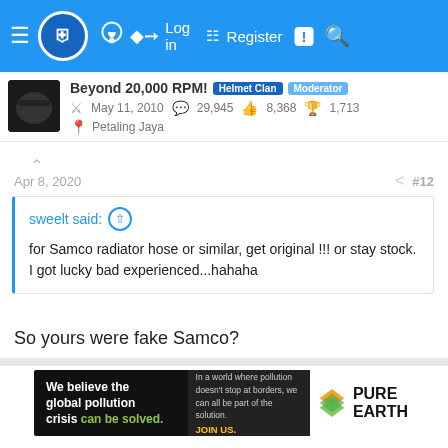Navigation bar with logo, lightbulb icon, Log in, Register, alert, search
Beyond 20,000 RPM! Helmet Clan Moderator
May 11, 2010  29,945  8,368  1,713
Petaling Jaya
Apr 8, 2020  #12
sweelt said: ↑ for Samco radiator hose or similar, get original !!! or stay stock. I got lucky bad experienced...hahaha
So yours were fake Samco?
[Figure (other): Pure Earth advertisement banner: black background with text 'We believe the global pollution crisis can be solved.' and 'In a world where pollution doesn't stop at borders, we can all be part of the solution. JOIN US.' with Pure Earth logo on white background]